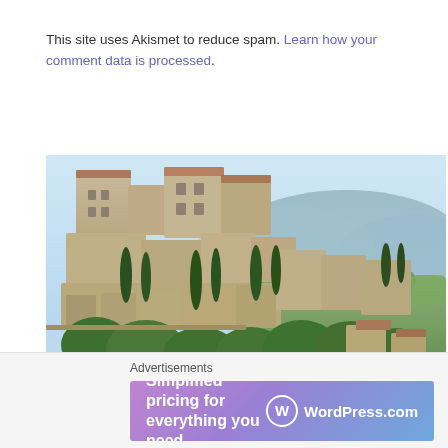This site uses Akismet to reduce spam. Learn how your comment data is processed.
[Figure (photo): Aerial view of a hilltop stone village (Gordes, Provence, France) with terraced buildings, cypress trees, and a green valley with blue mountains in the background.]
Advertisements
[Figure (screenshot): WordPress.com advertisement banner: 'Simplified pricing for everything you need.' with WordPress.com logo on gradient purple-blue background.]